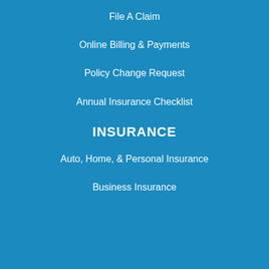File A Claim
Online Billing & Payments
Policy Change Request
Annual Insurance Checklist
INSURANCE
Auto, Home, & Personal Insurance
Business Insurance